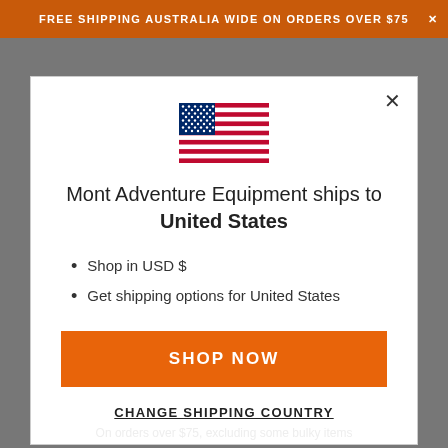FREE SHIPPING AUSTRALIA WIDE ON ORDERS OVER $75
[Figure (illustration): United States flag icon]
Mont Adventure Equipment ships to United States
Shop in USD $
Get shipping options for United States
SHOP NOW
CHANGE SHIPPING COUNTRY
On orders over $75, excluding some bulky items